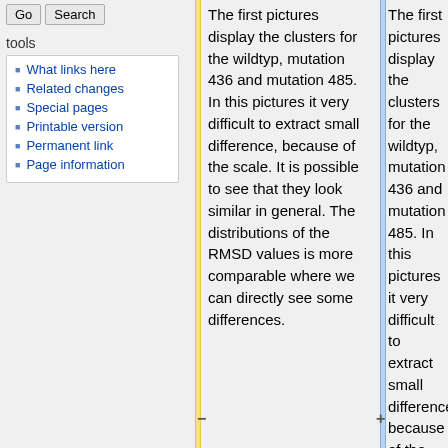Go | Search
tools
What links here
Related changes
Special pages
Printable version
Permanent link
Page information
The first pictures display the clusters for the wildtyp, mutation 436 and mutation 485. In this pictures it very difficult to extract small difference, because of the scale. It is possible to see that they look similar in general. The distributions of the RMSD values is more comparable where we can directly see some differences.
The first pictures display the clusters for the wildtyp, mutation 436 and mutation 485. In this pictures it very difficult to extract small difference, because of the scale. It is possible to see that they look similar in general. The distributions of the RMSD values is more comparable where we can directly see some differences. The highest difference exists for the courve shape. The wildtpye increases slow and has a fast decrease. Contrary, the